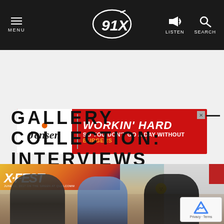[Figure (screenshot): 91X radio station website header/navigation bar with hamburger menu on left, 91X logo in center, listen and search icons on right, black background]
[Figure (other): Jensen advertisement banner: red background with white/orange text 'WORKIN' HARD SO YOU DON'T GO A DAY WITHOUT BURGERS' and Jensen logo on white left panel]
GALLERY COLLECTION: INTERVIEWS
[Figure (photo): Three people sitting outdoors during an interview at what appears to be the X-Fest music festival. Left person wears sunglasses and holds a microphone, center person in blue shirt holds a mic, right person with long dark hair and pink sunglasses also holds a mic. X-Fest festival banner visible in background.]